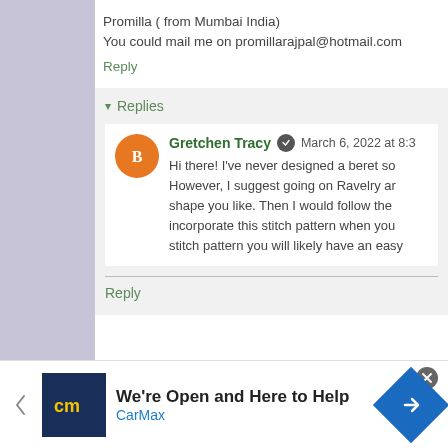Promilla ( from Mumbai India)
You could mail me on promillarajpal@hotmail.com
Reply
▾ Replies
Gretchen Tracy  March 6, 2022 at 8:3
Hi there! I've never designed a beret so However, I suggest going on Ravelry ar shape you like. Then I would follow the incorporate this stitch pattern when you stitch pattern you will likely have an easy
Reply
[Figure (screenshot): CarMax advertisement banner: 'We're Open and Here to Help' with CarMax logo and navigation arrow icon]